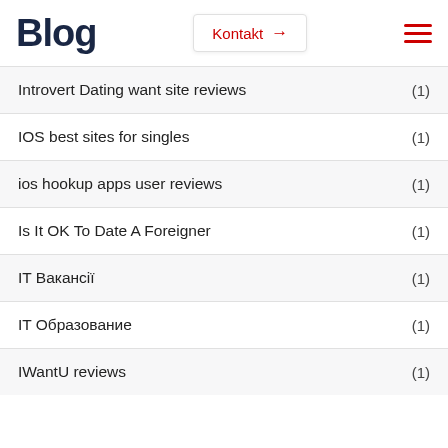Blog
Introvert Dating want site reviews (1)
IOS best sites for singles (1)
ios hookup apps user reviews (1)
Is It OK To Date A Foreigner (1)
IT Вакансії (1)
IT Образование (1)
IWantU reviews (1)